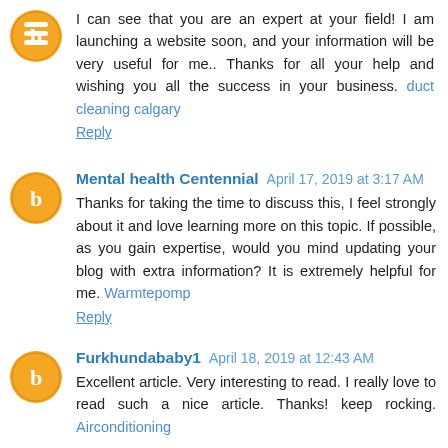I can see that you are an expert at your field! I am launching a website soon, and your information will be very useful for me.. Thanks for all your help and wishing you all the success in your business. duct cleaning calgary
Reply
Mental health Centennial  April 17, 2019 at 3:17 AM
Thanks for taking the time to discuss this, I feel strongly about it and love learning more on this topic. If possible, as you gain expertise, would you mind updating your blog with extra information? It is extremely helpful for me. Warmtepomp
Reply
Furkhundababy1  April 18, 2019 at 12:43 AM
Excellent article. Very interesting to read. I really love to read such a nice article. Thanks! keep rocking. Airconditioning